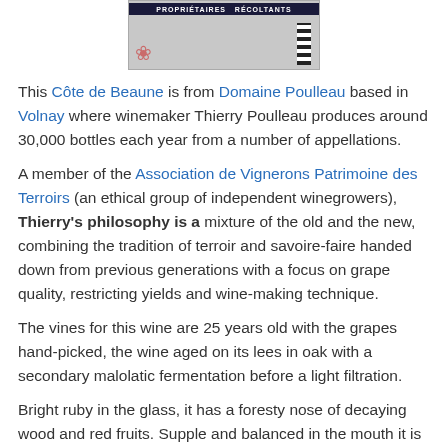[Figure (photo): Partial photo of a wine bottle or winery sign showing 'PROPRIETAIRES RECOLTANTS' banner in dark blue/navy with a floral element and striped label detail]
This Côte de Beaune is from Domaine Poulleau based in Volnay where winemaker Thierry Poulleau produces around 30,000 bottles each year from a number of appellations.
A member of the Association de Vignerons Patrimoine des Terroirs (an ethical group of independent winegrowers), Thierry's philosophy is a mixture of the old and the new, combining the tradition of terroir and savoire-faire handed down from previous generations with a focus on grape quality, restricting yields and wine-making technique.
The vines for this wine are 25 years old with the grapes hand-picked, the wine aged on its lees in oak with a secondary malolatic fermentation before a light filtration.
Bright ruby in the glass, it has a foresty nose of decaying wood and red fruits. Supple and balanced in the mouth it is light yet concentrated and rounded, with a balanced and mouthfilling texture, good structure and aromas of soft red fruits, vanilla and hints of spice.